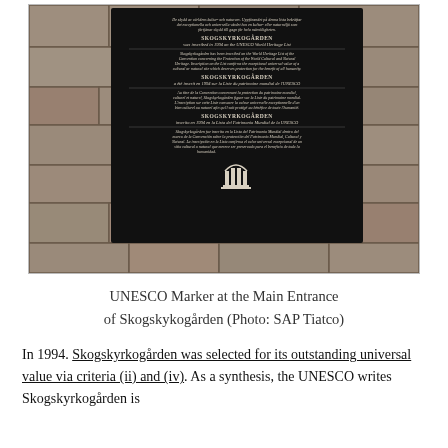[Figure (photo): A dark bronze/black UNESCO World Heritage plaque mounted on a stone wall. The plaque contains text in three languages (English, French, Spanish) stating that Skogskyrkogården was inscribed in 1994 on the UNESCO World Heritage List. A small UNESCO logo appears at the bottom of the plaque.]
UNESCO Marker at the Main Entrance of Skogskykogården (Photo: SAP Tiatco)
In 1994. Skogskyrkogården was selected for its outstanding universal value via criteria (ii) and (iv). As a synthesis, the UNESCO writes Skogskyrkogården is